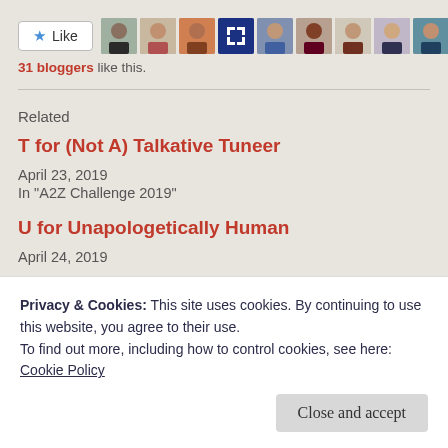[Figure (other): Like button with star icon and row of blogger avatar thumbnails]
31 bloggers like this.
Related
T for (Not A) Talkative Tuneer
April 23, 2019
In "A2Z Challenge 2019"
U for Unapologetically Human
April 24, 2019
Privacy & Cookies: This site uses cookies. By continuing to use this website, you agree to their use.
To find out more, including how to control cookies, see here:
Cookie Policy